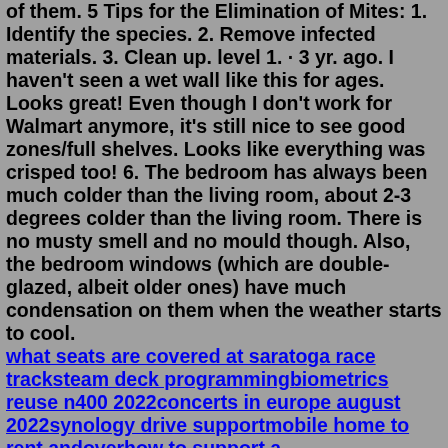of them. 5 Tips for the Elimination of Mites: 1. Identify the species. 2. Remove infected materials. 3. Clean up. level 1. · 3 yr. ago. I haven't seen a wet wall like this for ages. Looks great! Even though I don't work for Walmart anymore, it's still nice to see good zones/full shelves. Looks like everything was crisped too! 6. The bedroom has always been much colder than the living room, about 2-3 degrees colder than the living room. There is no musty smell and no mould though. Also, the bedroom windows (which are double-glazed, albeit older ones) have much condensation on them when the weather starts to cool.
what seats are covered at saratoga race tracksteam deck programmingbiometrics reuse n400 2022concerts in europe august 2022synology drive supportmobile home to rent andoverhow to support a caregivermouthparts of mosquitotatsuhisa suzuki voicessalina ymca volleyballpool supply catalogsfashion articles in the philippines xo